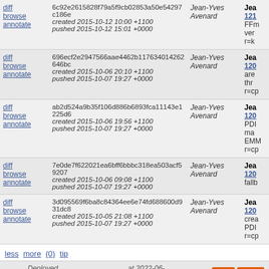| actions | changeset | author | description |
| --- | --- | --- | --- |
| diff browse annotate | 6c92e2615828f79a5f9cb02853a50e54297c186e
created 2015-10-12 10:00 +1100
pushed 2015-10-12 15:01 +0000 | Jean-Yves Avenard | Jea 121 FFm ver r=k |
| diff browse annotate | 696ecf2e2947566aae4462b117634014262646bc
created 2015-10-06 20:10 +1100
pushed 2015-10-07 19:27 +0000 | Jean-Yves Avenard | Jea 120 are thr r=cp |
| diff browse annotate | ab2d524a9b35f106d886b6893fca11143e1225d6
created 2015-10-06 19:56 +1100
pushed 2015-10-07 19:27 +0000 | Jean-Yves Avenard | Jea 120 PDI ma EMM r=cp |
| diff browse annotate | 7e0de7f622021ea6bff6bbbc318ea503acf59207
created 2015-10-06 09:08 +1100
pushed 2015-10-07 19:27 +0000 | Jean-Yves Avenard | Jea 120 fallb |
| diff browse annotate | 3d095569f6ba8c84364ee6e74fd688600d931dc8
created 2015-10-05 21:08 +1100
pushed 2015-10-07 19:27 +0000 | Jean-Yves Avenard | Jea 120 crea PDI r=cp |
less more (0) tip
gecko  Deployed from 18d8b634a3eb at 2022-06-27T19:41:42Z.